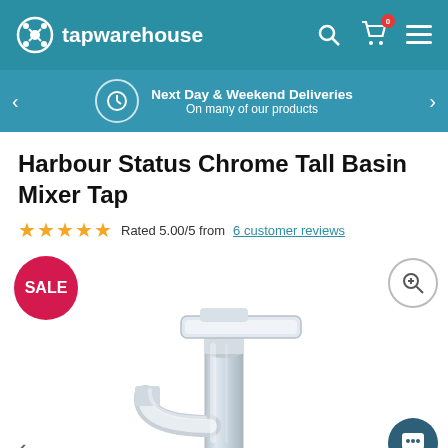tapwarehouse — navigation header with search, cart, and menu icons
Next Day & Weekend Deliveries — On many of our products
Harbour Status Chrome Tall Basin Mixer Tap
Rated 5.00/5 from 6 customer reviews
[Figure (photo): Chrome tall basin mixer tap with single lever handle, modern angular design, shown on white background. Red SALE badge in top-left corner. Zoom icon in top-right. Navigation arrow bottom-left. Chat button bottom-right.]